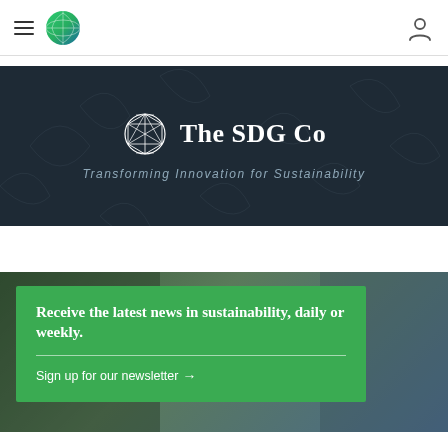Navigation bar with hamburger menu, logo, and user icon
[Figure (logo): The SDG Co logo — globe/sphere wireframe icon alongside text 'The SDG Co' with subtitle 'Transforming Innovation for Sustainability' on dark navy background]
[Figure (photo): Green newsletter signup card over blurred photo background. Heading: 'Receive the latest news in sustainability, daily or weekly.' Link: 'Sign up for our newsletter →']
Receive the latest news in sustainability, daily or weekly.
Sign up for our newsletter →